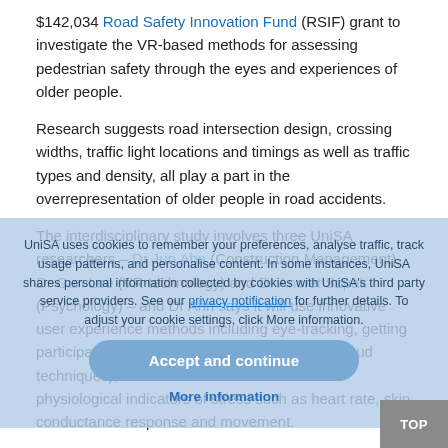$142,034 Road Safety Innovation Fund (RSIF) grant to investigate the VR-based methods for assessing pedestrian safety through the eyes and experiences of older people.
Research suggests road intersection design, crossing widths, traffic light locations and timings as well as traffic types and density, all play a part in the overrepresentation of older people in road accidents.
The interdisciplinary study involves three UniSA researchers – Dr Jun Ahn (Construction Management), Dr Gun Lee (VR technology) and Dr Ancret Szpak (Psychology) – and Dr Ahn says it will use innovative user experience methods including eye-tracking, getting participants to verbalise their thoughts (ThinkAloud techniques), and wearable biosensors to track physiological indicators of stress such as heart rate, skin conductance response and movement.
"Having access to a wide range of data from both virtual and real environments means we can overcome the limitations of
[Figure (screenshot): Cookie consent overlay with text: UniSA uses cookies to remember your preferences, analyse traffic, track usage patterns, and personalise content. In some instances, UniSA shares personal information collected by cookies with UniSA's third party service providers. See our privacy notification for further details. To adjust your cookie settings, click More information. Buttons: Accept and continue, More information.]
[Figure (other): Grey TOP button in bottom-right corner for scrolling to top of page.]